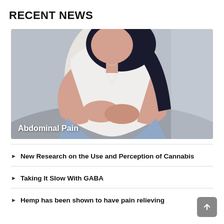RECENT NEWS
[Figure (photo): Woman in white t-shirt and jeans sitting cross-legged holding her abdomen in pain, with overlay text 'Abdominal Pain']
New Research on the Use and Perception of Cannabis
Taking It Slow With GABA
Hemp has been shown to have pain relieving